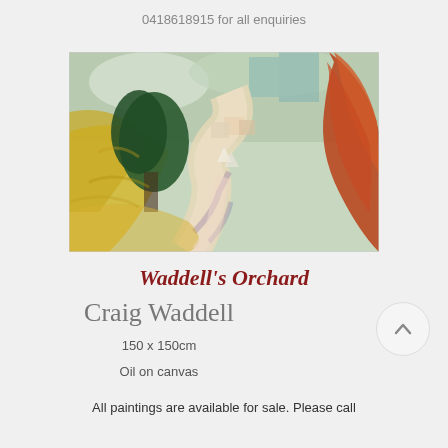0418618915 for all enquiries
[Figure (photo): Oil painting depicting a rural orchard/village scene with warm yellows, oranges, greens and purples. A winding path leads through the landscape with trees on either side.]
Waddell’s Orchard
Craig Waddell
150 x 150cm
Oil on canvas
All paintings are available for sale. Please call